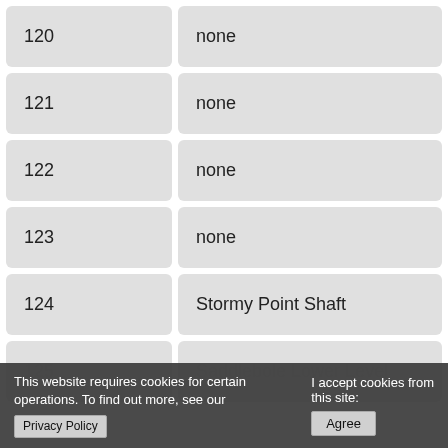| ID | Value |
| --- | --- |
| 120 | none |
| 121 | none |
| 122 | none |
| 123 | none |
| 124 | Stormy Point Shaft |
| 125 | Saddlebole Lower Level |
This website requires cookies for certain operations. To find out more, see our Privacy Policy. I accept cookies from this site: Agree